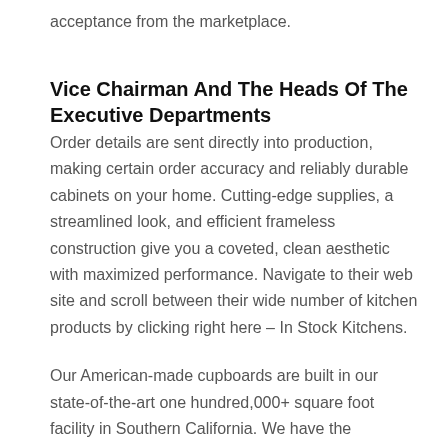acceptance from the marketplace.
Vice Chairman And The Heads Of The Executive Departments
Order details are sent directly into production, making certain order accuracy and reliably durable cabinets on your home. Cutting-edge supplies, a streamlined look, and efficient frameless construction give you a coveted, clean aesthetic with maximized performance. Navigate to their web site and scroll between their wide number of kitchen products by clicking right here – In Stock Kitchens.
Our American-made cupboards are built in our state-of-the-art one hundred,000+ square foot facility in Southern California. We have the expertise, skilled craftsmanship, and extensive manufacturing capabilities to produce a high quality product in an efficient and cost-effective method. With complete